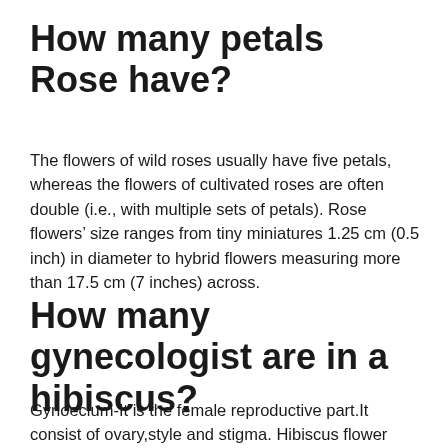How many petals Rose have?
The flowers of wild roses usually have five petals, whereas the flowers of cultivated roses are often double (i.e., with multiple sets of petals). Rose flowers’ size ranges from tiny miniatures 1.25 cm (0.5 inch) in diameter to hybrid flowers measuring more than 17.5 cm (7 inches) across.
How many gynecologist are in a hibiscus?
Gynoecium-It is the female reproductive part.It consist of ovary,style and stigma. Hibiscus flower consist of 5 carpels which are